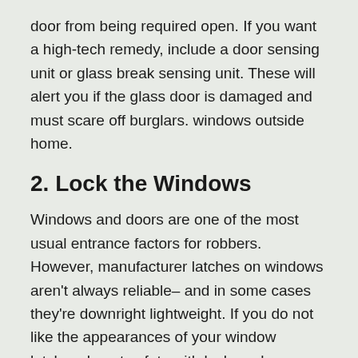door from being required open. If you want a high-tech remedy, include a door sensing unit or glass break sensing unit. These will alert you if the glass door is damaged and must scare off burglars. windows outside home.
2. Lock the Windows
Windows and doors are one of the most usual entrance factors for robbers. However, manufacturer latches on windows aren’t always reliable– and in some cases they’re downright lightweight. If you do not like the appearances of your window latches, boost safety with locks or key-operated bars. Yet you do not need to quit there.
We have a few other excellent concepts to